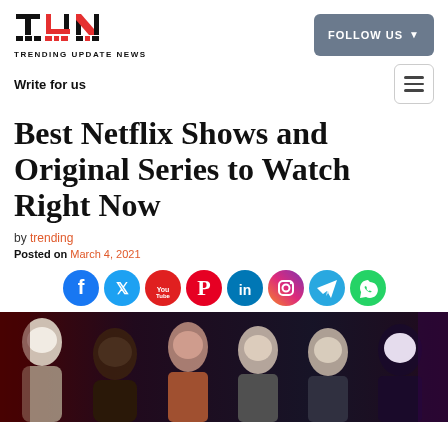TRENDING UPDATE NEWS
Write for us
Best Netflix Shows and Original Series to Watch Right Now
by trending
Posted on March 4, 2021
[Figure (other): Social media share icons: Facebook, Twitter, YouTube, Pinterest, LinkedIn, Instagram, Telegram, WhatsApp]
[Figure (photo): Illustration/photo of multiple Netflix show characters including animated and live-action characters against a dark background]